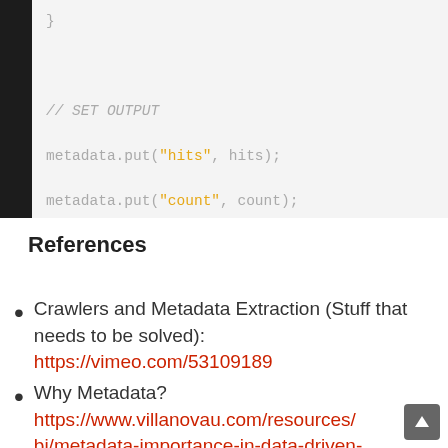[Figure (screenshot): Code screenshot showing Java-like code with metadata.put calls for 'hits', 'count', 'scraper_count', 'scrapers' with orange string literals on light background inside dark frame]
References
Crawlers and Metadata Extraction (Stuff that needs to be solved): https://vimeo.com/53109189
Why Metadata? https://www.villanovau.com/resources/bi/metadata-importance-in-data-driven-